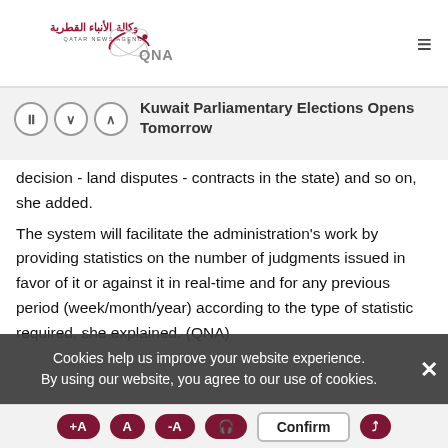[Figure (logo): Qatar News Agency (QNA) logo with Arabic text and orbital graphic]
Kuwait Parliamentary Elections Opens Tomorrow
decision - land disputes - contracts in the state) and so on, she added.
The system will facilitate the administration's work by providing statistics on the number of judgments issued in favor of it or against it in real-time and for any previous period (week/month/year) according to the type of statistic required, she explained. (QNA)
Cookies help us improve your website experience. By using our website, you agree to our use of cookies.